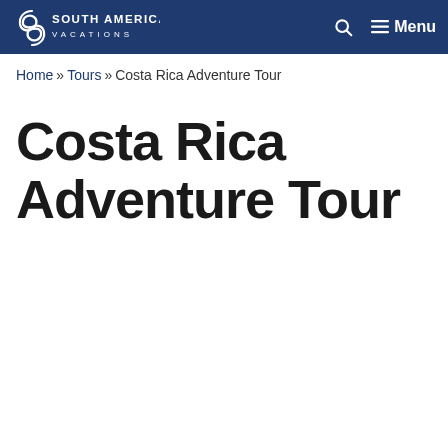South American Vacations — Menu
Home » Tours » Costa Rica Adventure Tour
Costa Rica Adventure Tour